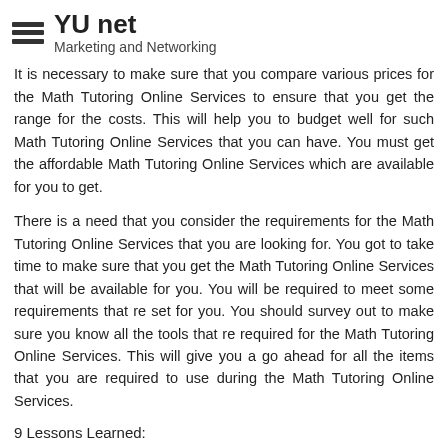YU net — Marketing and Networking
It is necessary to make sure that you compare various prices for the Math Tutoring Online Services to ensure that you get the range for the costs. This will help you to budget well for such Math Tutoring Online Services that you can have. You must get the affordable Math Tutoring Online Services which are available for you to get.
There is a need that you consider the requirements for the Math Tutoring Online Services that you are looking for. You got to take time to make sure that you get the Math Tutoring Online Services that will be available for you. You will be required to meet some requirements that re set for you. You should survey out to make sure you know all the tools that re required for the Math Tutoring Online Services. This will give you a go ahead for all the items that you are required to use during the Math Tutoring Online Services.
9 Lessons Learned:
Finding Ways To Keep Up With
Categories: Sports & Athletics